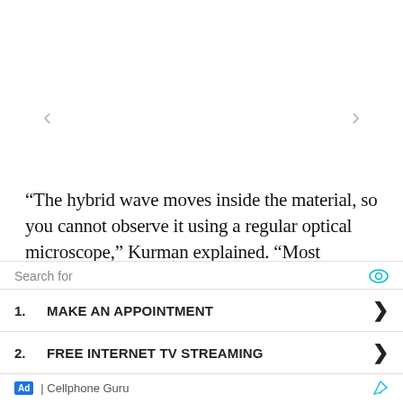“The hybrid wave moves inside the material, so you cannot observe it using a regular optical microscope,” Kurman explained. “Most measurements of light in 2D materials are based on microscopy techniques that use needle-like objects that scan over the surface point-by-point, but every such needle-contact disturbs the
Search for
1. MAKE AN APPOINTMENT
2. FREE INTERNET TV STREAMING
Ad | Cellphone Guru